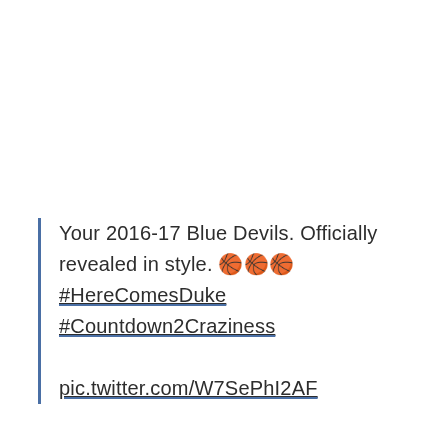Your 2016-17 Blue Devils. Officially revealed in style. 🏀🏀🏀#HereComesDuke #Countdown2Craziness pic.twitter.com/W7SePhI2AF